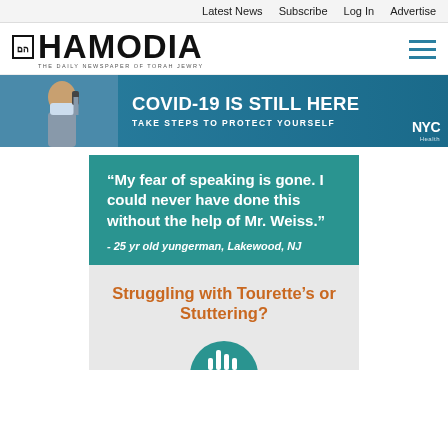Latest News   Subscribe   Log In   Advertise
[Figure (logo): Hamodia logo - THE DAILY NEWSPAPER OF TORAH JEWRY]
[Figure (infographic): NYC Health banner: COVID-19 IS STILL HERE - TAKE STEPS TO PROTECT YOURSELF, with person wearing mask on phone]
“My fear of speaking is gone. I could never have done this without the help of Mr. Weiss.” - 25 yr old yungerman, Lakewood, NJ
Struggling with Tourette’s or Stuttering?